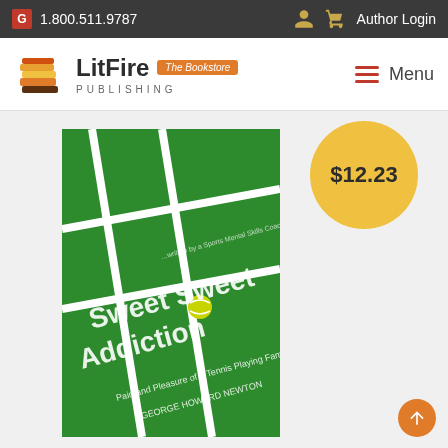1.800.511.9787  Author Login
[Figure (logo): LitFire Publishing logo with The Bookstore badge and Menu navigation]
[Figure (photo): Book cover: Sweet Sweet Addiction - Pain and Pleasure of a Tennis Playing Family by George Howard Newton, shown on a green tennis court background with a tennis ball. Price badge showing $12.23 overlaid.]
$12.23